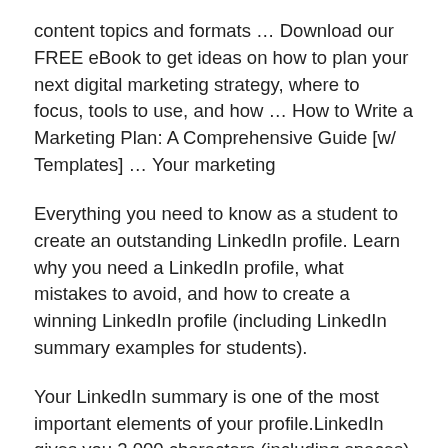content topics and formats … Download our FREE eBook to get ideas on how to plan your next digital marketing strategy, where to focus, tools to use, and how … How to Write a Marketing Plan: A Comprehensive Guide [w/ Templates] … Your marketing
Everything you need to know as a student to create an outstanding LinkedIn profile. Learn why you need a LinkedIn profile, what mistakes to avoid, and how to create a winning LinkedIn profile (including LinkedIn summary examples for students).
Your LinkedIn summary is one of the most important elements of your profile.LinkedIn gives you 2,000 characters (including spaces) to summarize your background and, besides your headline, your summary is the first thing people see.